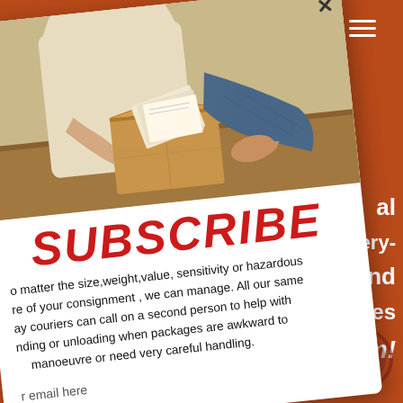[Figure (screenshot): A screenshot of a website with a burnt orange/red background showing a subscribe modal popup. The modal is tilted at an angle and contains a photo of two people exchanging a cardboard package, a bold red SUBSCRIBE heading, descriptive body text about courier services, and an email input field. A hamburger menu icon appears in the top right corner. Partially visible background text fragments are visible on the right side.]
SUBSCRIBE
o matter the size, weight, value, sensitivity or hazardous re of your consignment , we can manage. All our same ay couriers can call on a second person to help with nding or unloading when packages are awkward to manoeuvre or need very careful handling.
r email here